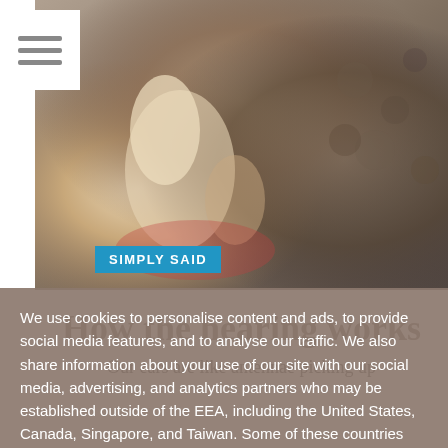[Figure (photo): Close-up 3D rendered image of human ear anatomy showing bones and inner ear structures, with blurred animal fur texture in background]
[Figure (other): Hamburger menu icon (three horizontal lines) on white background]
SIMPLY SAID
How the hearing works
Our ears are like antennae picking up
We use cookies to personalise content and ads, to provide social media features, and to analyse our traffic. We also share information about your use of our site with our social media, advertising, and analytics partners who may be established outside of the EEA, including the United States, Canada, Singapore, and Taiwan. Some of these countries may not have the same data protection safeguards as those in the EEA. By continuing to use this site you are agreeing to